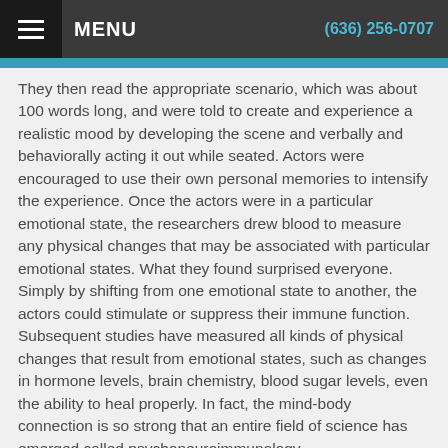MENU   (636) 256-0707
They then read the appropriate scenario, which was about 100 words long, and were told to create and experience a realistic mood by developing the scene and verbally and behaviorally acting it out while seated. Actors were encouraged to use their own personal memories to intensify the experience. Once the actors were in a particular emotional state, the researchers drew blood to measure any physical changes that may be associated with particular emotional states. What they found surprised everyone. Simply by shifting from one emotional state to another, the actors could stimulate or suppress their immune function. Subsequent studies have measured all kinds of physical changes that result from emotional states, such as changes in hormone levels, brain chemistry, blood sugar levels, even the ability to heal properly. In fact, the mind-body connection is so strong that an entire field of science has emerged called psychoneuroimmunology.
More and more scientific studies are published on a